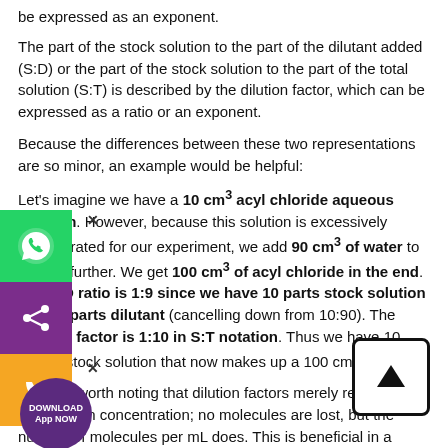be expressed as an exponent.
The part of the stock solution to the part of the dilutant added (S:D) or the part of the stock solution to the part of the total solution (S:T) is described by the dilution factor, which can be expressed as a ratio or an exponent.
Because the differences between these two representations are so minor, an example would be helpful:
Let's imagine we have a 10 cm³ acyl chloride aqueous solution. However, because this solution is excessively concentrated for our experiment, we add 90 cm³ of water to dilute it further. We get 100 cm³ of acyl chloride in the end. The S:D ratio is 1:9 since we have 10 parts stock solution and 90 parts dilutant (cancelling down from 10:90). The dilution factor is 1:10 in S:T notation. Thus we have 10 cm³ of stock solution that now makes up a 100 cm³ solution.
It is also worth noting that dilution factors merely represent a reduction in concentration; no molecules are lost, but the number of molecules per mL does. This is beneficial in a variety of experimental circumstances.
Although the dilution factor is merely a convenient method of